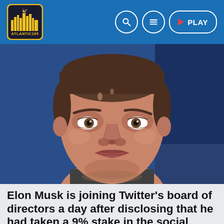ATLANTIC195 | PLAY
[Figure (photo): Close-up portrait photograph of Elon Musk against a blue background, looking slightly upward with a thoughtful expression.]
Elon Musk is joining Twitter's board of directors a day after disclosing that he had taken a 9% stake in the social media platform.